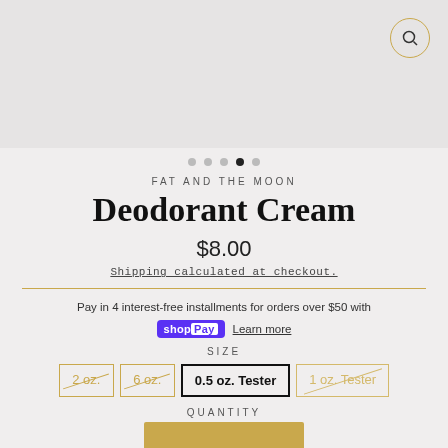[Figure (photo): Top image area of e-commerce product page with search icon button in top right corner]
• • • • (navigation dots with 4th dot active)
FAT AND THE MOON
Deodorant Cream
$8.00
Shipping calculated at checkout.
Pay in 4 interest-free installments for orders over $50 with shop Pay Learn more
SIZE
2 oz. | 6 oz. | 0.5 oz. Tester (selected) | 1 oz. Tester
QUANTITY